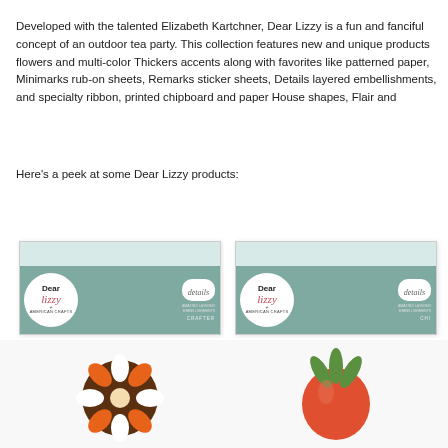Developed with the talented Elizabeth Kartchner, Dear Lizzy is a fun and fanciful concept of an outdoor tea party. This collection features new and unique products like flowers and multi-color Thickers accents along with favorites like patterned paper, Minimarks rub-on sheets, Remarks sticker sheets, Details layered embellishments, and specialty ribbon, printed chipboard and paper House shapes, Flair and
Here's a peek at some Dear Lizzy products:
[Figure (photo): Dear Lizzy + American Crafts 'details' layered embellishments package, teal/mint colored packaging]
[Figure (photo): Dear Lizzy + American Crafts 'details' layered embellishments package, second variant, teal/mint colored packaging]
[Figure (photo): Felt flower embellishment with orange and white petals on brown base]
[Figure (photo): Felt strawberry embellishment in orange-red with green leaves]